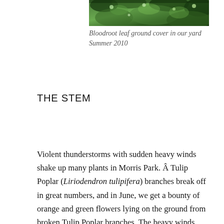[Figure (photo): Close-up photo of bloodroot leaves as ground cover, showing green and dark-colored leaves with water droplets]
Bloodroot leaf ground cover in our yard Summer 2010
THE STEM
Violent thunderstorms with sudden heavy winds shake up many plants in Morris Park. Â Tulip Poplar (Liriodendron tulipifera) branches break off in great numbers, and in June, we get a bounty of orange and green flowers lying on the ground from broken Tulip Poplar branches. The heavy winds blow so hard we wonder why the plants dont break or bend completely down. We started to examine the stem of the Bloodroot plant more closely. The force of an animal, (usually an off-leash and unsupervised dog) could crush a bloodroot stem in a flash, halting its photosynthesis process of food production for the season and weakening its chance